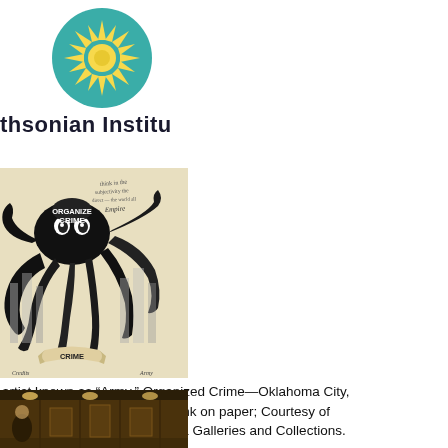[Figure (logo): Smithsonian Institution logo: teal/green circle with yellow sun/star burst in center, with text 'thsonian Institu' visible (partially cropped)]
[Figure (photo): Black and white ink drawing of an octopus labeled 'CRIME' wrapping tentacles around a cityscape, with handwritten notes at top.]
artist known as "Army," Organized Crime—Oklahoma City, 1940; 12 1/2 x 11 1/4 inches, ink on paper; Courtesy of University of Central Oklahoma Galleries and Collections.
[Figure (photo): Interior photo of a dimly lit gallery or museum space with warm overhead lighting, wooden walls/panels, and a person visible in the foreground.]